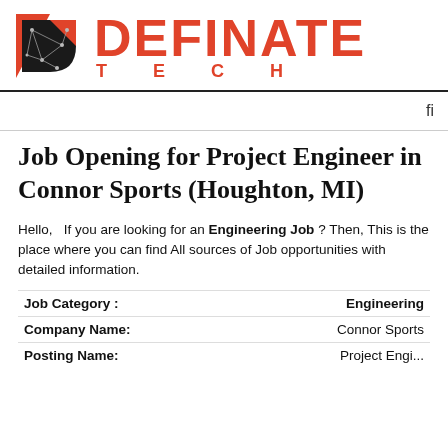[Figure (logo): Definate Tech logo with a geometric D icon in black and red/coral triangle, and DEFINATE TECH text in red/coral bold uppercase]
Job Opening for Project Engineer in Connor Sports (Houghton, MI)
Hello,   If you are looking for an Engineering Job ? Then, This is the place where you can find All sources of Job opportunities with detailed information.
| Field | Value |
| --- | --- |
| Job Category : | Engineering |
| Company Name: | Connor Sports |
| Posting Name: | Project Engineer |